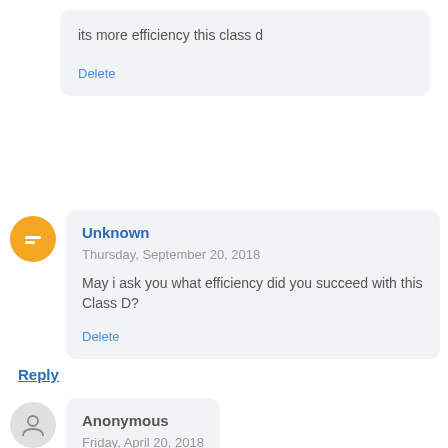its more efficiency this class d
Delete
Unknown
Thursday, September 20, 2018
May i ask you what efficiency did you succeed with this Class D?
Delete
Reply
Anonymous
Friday, April 20, 2018